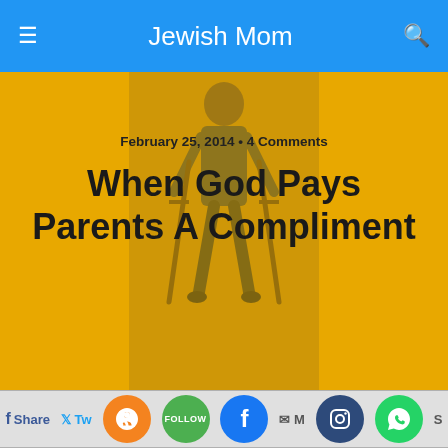Jewish Mom
[Figure (photo): Hero image area with gold/yellow background showing a child on crutches overlaid with article title and date]
February 25, 2014 • 4 Comments
When God Pays Parents A Compliment
[Figure (infographic): Social sharing bar with Facebook Share, Twitter Tweet, RSS feed (orange circle), Follow (green circle), Facebook icon (blue circle), Mail, Instagram (dark blue circle), WhatsApp (green circle), and Save buttons]
This morning I saw a boy from a neighborhood school for the severely handicapped passing by with his teacher.
Looking at him as he slowly limped along, it appeared to me that this was a boy who was so severely mentally and physically disabled that he would never talk. He would